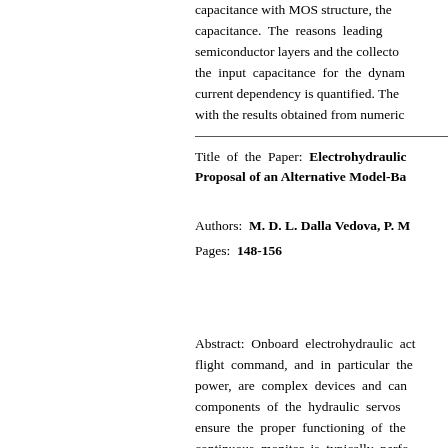capacitance with MOS structure, the capacitance. The reasons leading semiconductor layers and the collecto the input capacitance for the dynam current dependency is quantified. The with the results obtained from numeric
Title of the Paper: Electrohydraulic Proposal of an Alternative Model-Ba
Authors: M. D. L. Dalla Vedova, P. M
Pages: 148-156
Abstract: Onboard electrohydraulic act flight command, and in particular the power, are complex devices and can components of the hydraulic servos ensure the proper functioning of the continuous monitor is typically perfo but this monitor falls short of recogniz degradation from a normal use.